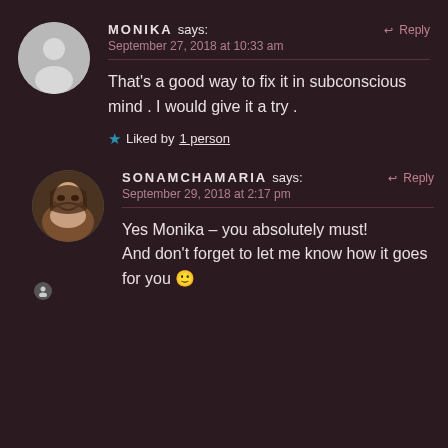MONIKA says: September 27, 2018 at 10:33 am
That's a good way to fix it in subconscious mind . I would give it a try .
Liked by 1 person
SONAMCHAMARIA says: September 29, 2018 at 2:17 pm
Yes Monika – you absolutely must! And don't forget to let me know how it goes for you 🙂